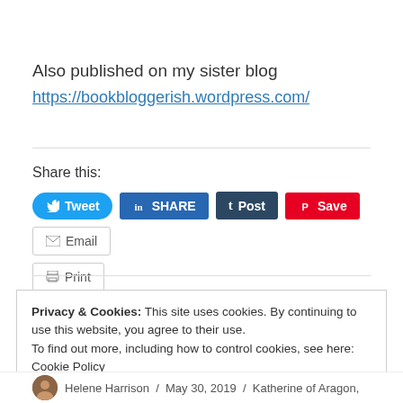Also published on my sister blog
https://bookbloggerish.wordpress.com/
Share this:
[Figure (other): Social share buttons: Tweet, SHARE (LinkedIn), Post (Tumblr), Save (Pinterest), Email, Print]
Privacy & Cookies: This site uses cookies. By continuing to use this website, you agree to their use.
To find out more, including how to control cookies, see here: Cookie Policy
Close and accept
Helene Harrison / May 30, 2019 / Katherine of Aragon,